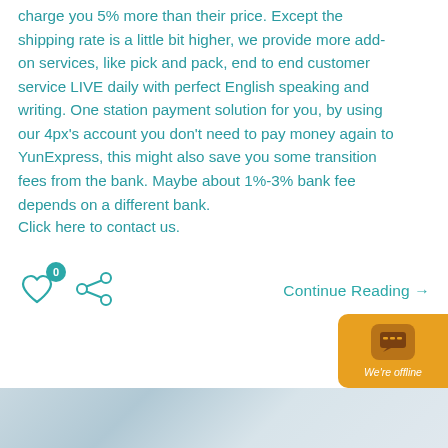charge you 5% more than their price. Except the shipping rate is a little bit higher, we provide more add-on services, like pick and pack, end to end customer service LIVE daily with perfect English speaking and writing. One station payment solution for you, by using our 4px’s account you don’t need to pay money again to YunExpress, this might also save you some transition fees from the bank. Maybe about 1%-3% bank fee depends on a different bank.
Click here to contact us.
[Figure (infographic): Heart icon with badge showing 0 likes, and a share icon]
Continue Reading →
[Figure (infographic): Chat widget showing 'We're offline' with orange background]
[Figure (photo): Bottom partial image with light blue/grey tones]